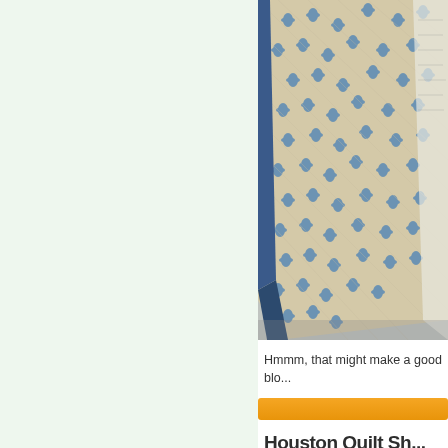[Figure (photo): Close-up photograph of a folded quilt with a blue floral pattern on a cream/beige background, with a dark blue binding visible at the edge. The quilt is photographed on a light gray surface.]
Hmmm, that might make a good blo...
Houston Quilt Sh...